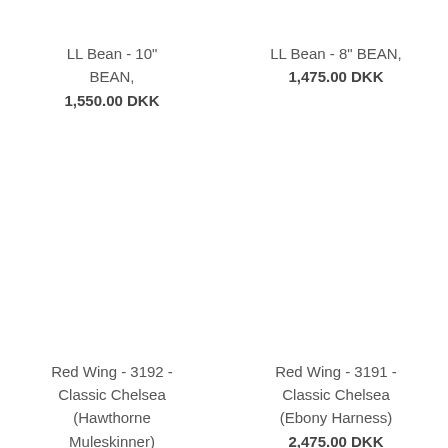LL Bean - 10" BEAN,
1,550.00 DKK
LL Bean - 8" BEAN,
1,475.00 DKK
Red Wing - 3192 - Classic Chelsea (Hawthorne Muleskinner)
2,475.00 DKK
Red Wing - 3191 - Classic Chelsea (Ebony Harness)
2,475.00 DKK